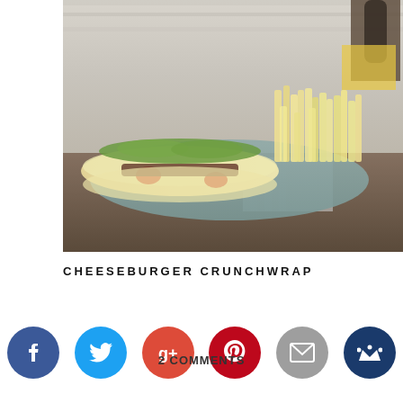[Figure (photo): A cheeseburger crunchwrap sandwich cut in half and served on a blue-grey ceramic plate with french fries, photographed on a dark wooden surface with a checkered cloth]
CHEESEBURGER CRUNCHWRAP
2 COMMENTS